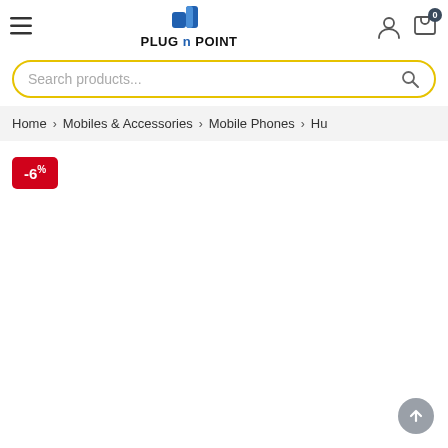PLUG n POINT — navigation header with hamburger menu, logo, user icon, and cart (0 items)
Search products...
Home > Mobiles & Accessories > Mobile Phones > Hu
-6%